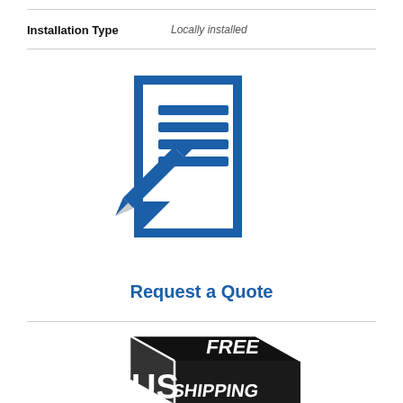| Installation Type | Locally installed |
| --- | --- |
[Figure (illustration): Blue icon of a document with text lines and a pencil, with the text 'Request a Quote' below in bold blue]
[Figure (illustration): Black and white graphic of a 3D box with 'FREE SHIPPING' text on it, partially cropped at bottom]